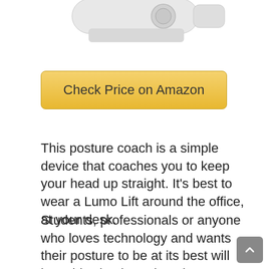[Figure (photo): Partial view of a Lumo Lift posture coach device — a small white clip-like gadget shown from above against a white background.]
Check Price on Amazon
This posture coach is a simple device that coaches you to keep your head up straight. It's best to wear a Lumo Lift around the office, at your desk.
Students, professionals or anyone who loves technology and wants their posture to be at its best will love this simple gadget that comes in handy when you need guidance in sitting upright.